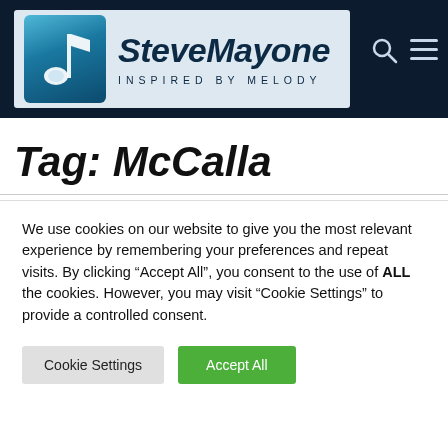SteveMayone — INSPIRED BY MELODY
Tag: McCalla
We use cookies on our website to give you the most relevant experience by remembering your preferences and repeat visits. By clicking "Accept All", you consent to the use of ALL the cookies. However, you may visit "Cookie Settings" to provide a controlled consent.